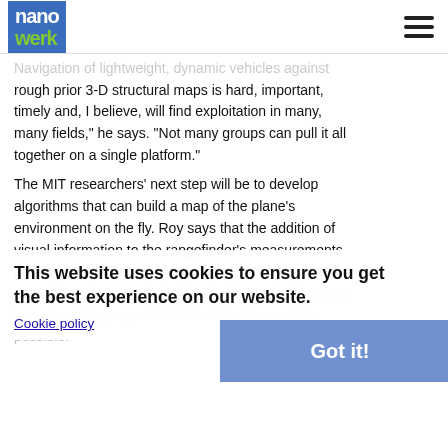nanowerk
Navigation of lightweight, dynamic vehicles against rough prior 3-D structural maps is hard, important, timely and, I believe, will find exploitation in many, many fields," he says. "Not many groups can pull it all together on a single platform."
The MIT researchers' next step will be to develop algorithms that can build a map of the plane's environment on the fly. Roy says that the addition of visual information to the rangefinder's measurements and the inertial data could make the problem more tractable. "There are definitely significant challenges to be solved," Bry says. "But I think that it's certainly possible."
This website uses cookies to ensure you get the best experience on our website.
Cookie policy
Got it!
Source: By Larry Hardesty, MIT
Subscribe to a free copy of one of our daily Nanowerk Newsletter Email Digests